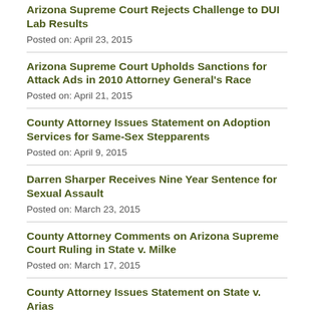Arizona Supreme Court Rejects Challenge to DUI Lab Results
Posted on: April 23, 2015
Arizona Supreme Court Upholds Sanctions for Attack Ads in 2010 Attorney General's Race
Posted on: April 21, 2015
County Attorney Issues Statement on Adoption Services for Same-Sex Stepparents
Posted on: April 9, 2015
Darren Sharper Receives Nine Year Sentence for Sexual Assault
Posted on: March 23, 2015
County Attorney Comments on Arizona Supreme Court Ruling in State v. Milke
Posted on: March 17, 2015
County Attorney Issues Statement on State v. Arias